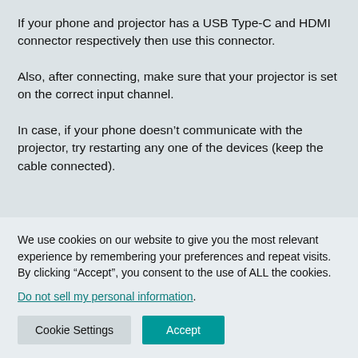If your phone and projector has a USB Type-C and HDMI connector respectively then use this connector.
Also, after connecting, make sure that your projector is set on the correct input channel.
In case, if your phone doesn’t communicate with the projector, try restarting any one of the devices (keep the cable connected).
We use cookies on our website to give you the most relevant experience by remembering your preferences and repeat visits. By clicking “Accept”, you consent to the use of ALL the cookies.
Do not sell my personal information.
Cookie Settings
Accept